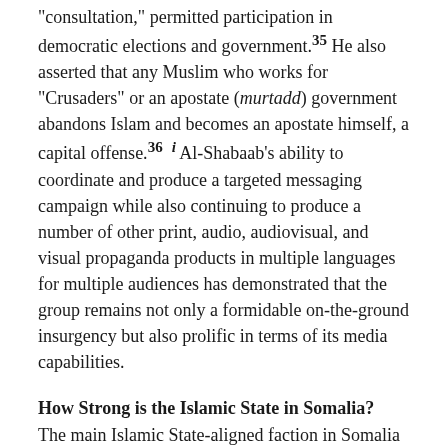“consultation,” permitted participation in democratic elections and government.³⁵ He also asserted that any Muslim who works for “Crusaders” or an apostate (murtadd) government abandons Islam and becomes an apostate himself, a capital offense.³⁶ ⁱ Al-Shabaab’s ability to coordinate and produce a targeted messaging campaign while also continuing to produce a number of other print, audio, audiovisual, and visual propaganda products in multiple languages for multiple audiences has demonstrated that the group remains not only a formidable on-the-ground insurgency but also prolific in terms of its media capabilities.
How Strong is the Islamic State in Somalia?
The main Islamic State-aligned faction in Somalia led by Mu’min remains primarily based and most active in Puntland, though small pro-Islamic State groups have also emerged in parts of western and southern Somalia, though whether these other groups are directly controlled by Mu’min is unclear.³⁷ In comparison to al-Shabaab, which